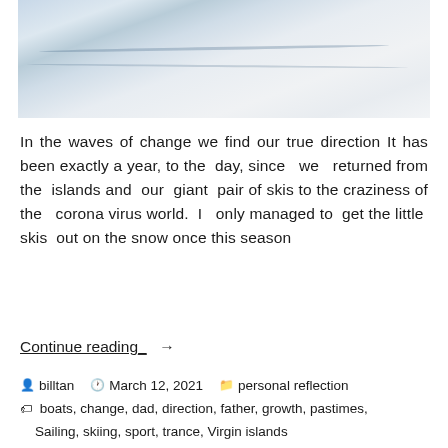[Figure (photo): Snow surface photograph showing textured snow/ice with subtle blue-grey tonal variations and faint linear marks across the surface]
In the waves of change we find our true direction It has been exactly a year, to the day, since we returned from the islands and our giant pair of skis to the craziness of the corona virus world. I only managed to get the little skis out on the snow once this season
Continue reading →
billtan   March 12, 2021   personal reflection
boats, change, dad, direction, father, growth, pastimes, Sailing, skiing, sport, trance, Virgin islands
1 Comment